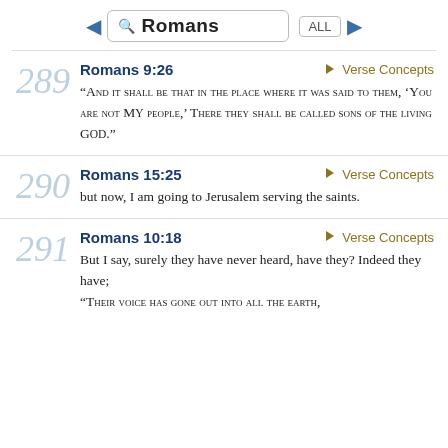Romans ALL
289 Romans 9:26 → Verse Concepts
“AND IT SHALL BE THAT IN THE PLACE WHERE IT WAS SAID TO THEM, ‘YOU ARE NOT MY PEOPLE,’ THERE THEY SHALL BE CALLED SONS OF THE LIVING GOD.”
290 Romans 15:25 → Verse Concepts
but now, I am going to Jerusalem serving the saints.
291 Romans 10:18 → Verse Concepts
But I say, surely they have never heard, have they? Indeed they have;
“THEIR VOICE HAS GONE OUT INTO ALL THE EARTH,